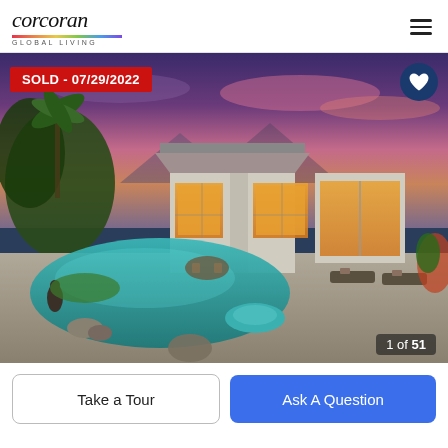[Figure (logo): Corcoran Global Living logo with italic script wordmark and rainbow gradient bar with GLOBAL LIVING text below]
[Figure (photo): Twilight exterior photo of luxury home with custom pool, spa, patio furniture, palm trees, and dramatic purple-pink sunset sky. Sold badge reads SOLD - 07/29/2022. Image counter shows 1 of 51.]
Take a Tour
Ask A Question